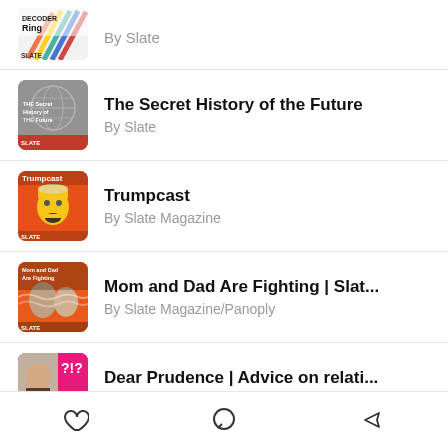By Slate
The Secret History of the Future
By Slate
Trumpcast
By Slate Magazine
Mom and Dad Are Fighting | Slat...
By Slate Magazine/Panoply
Dear Prudence | Advice on relati...
By Slate